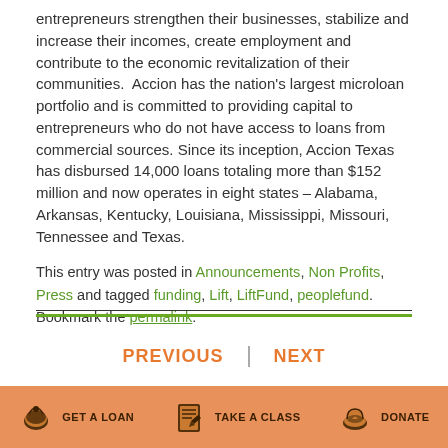entrepreneurs strengthen their businesses, stabilize and increase their incomes, create employment and contribute to the economic revitalization of their communities.  Accion has the nation's largest microloan portfolio and is committed to providing capital to entrepreneurs who do not have access to loans from commercial sources. Since its inception, Accion Texas has disbursed 14,000 loans totaling more than $152 million and now operates in eight states – Alabama, Arkansas, Kentucky, Louisiana, Mississippi, Missouri, Tennessee and Texas.
This entry was posted in Announcements, Non Profits, Press and tagged funding, Lift, LiftFund, peoplefund. Bookmark the permalink.
PREVIOUS | NEXT
GET A LOAN  TAKE A CLASS  DONATE